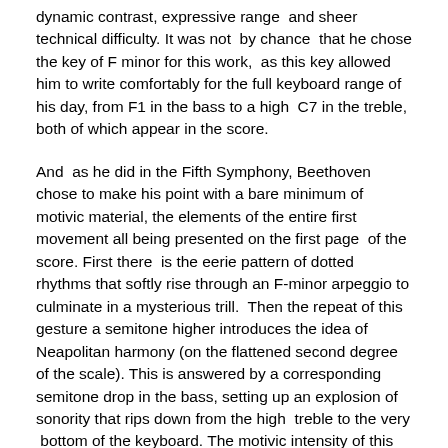dynamic contrast, expressive range  and sheer technical difficulty. It was not  by chance  that he chose the key of F minor for this work,  as this key allowed him to write comfortably for the full keyboard range of his day, from F1 in the bass to a high  C7 in the treble, both of which appear in the score.
And  as he did in the Fifth Symphony, Beethoven chose to make his point with a bare minimum of motivic material, the elements of the entire first movement all being presented on the first page  of the score. First there  is the eerie pattern of dotted rhythms that softly rise through an F-minor arpeggio to culminate in a mysterious trill.  Then the repeat of this gesture a semitone higher introduces the idea of Neapolitan harmony (on the flattened second degree of the scale). This is answered by a corresponding semitone drop in the bass, setting up an explosion of sonority that rips down from the high  treble to the very  bottom of the keyboard. The motivic intensity of this movement is so dense that even the second theme,  in A flat, is a mere  variant of the first.  The opening fireworks are balanced, formally, by an extended coda  (as in